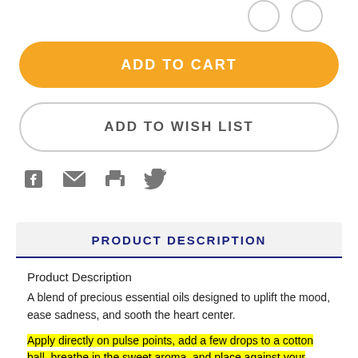[Figure (other): Two circular icon buttons (share/social) in top right]
ADD TO CART
ADD TO WISH LIST
[Figure (other): Social share icons: Facebook, Email, Print, Twitter]
PRODUCT DESCRIPTION
Product Description
A blend of precious essential oils designed to uplift the mood, ease sadness, and sooth the heart center.
Apply directly on pulse points, add a few drops to a cotton ball, breathe in the sweet aroma, and place against your body, allow the natural